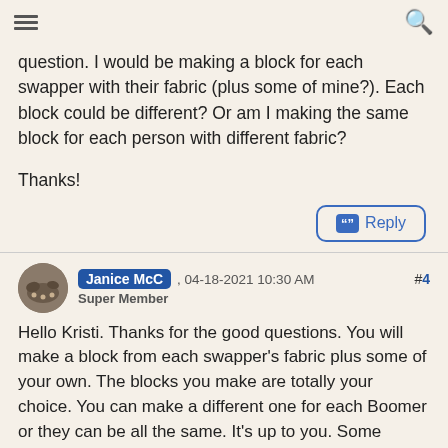≡  [forum title blurred]  🔍
question. I would be making a block for each swapper with their fabric (plus some of mine?). Each block could be different? Or am I making the same block for each person with different fabric?
Thanks!
" Reply
Janice McC , 04-18-2021 10:30 AM  #4
Super Member
Hello Kristi. Thanks for the good questions. You will make a block from each swapper's fabric plus some of your own. The blocks you make are totally your choice. You can make a different one for each Boomer or they can be all the same. It's up to you. Some Boomers wait to see if the various fabrics “speak” to them and help direct the kind of block to make.